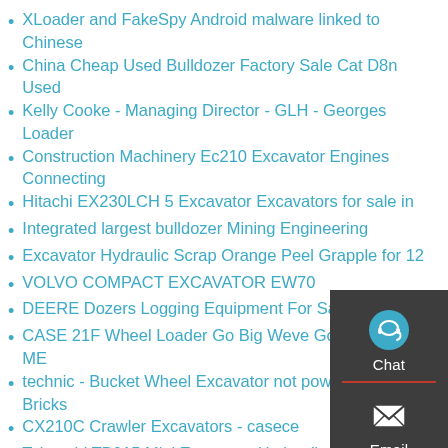XLoader and FakeSpy Android malware linked to Chinese
China Cheap Used Bulldozer Factory Sale Cat D8n Used
Kelly Cooke - Managing Director - GLH - Georges Loader
Construction Machinery Ec210 Excavator Engines Connecting
Hitachi EX230LCH 5 Excavator Excavators for sale in
Integrated largest bulldozer Mining Engineering
Excavator Hydraulic Scrap Orange Peel Grapple for 12
VOLVO COMPACT EXCAVATOR EW70
DEERE Dozers Logging Equipment For Sale - 1272
CASE 21F Wheel Loader Go Big Weve Got You Covered ME
technic - Bucket Wheel Excavator not powering up - Bricks
CX210C Crawler Excavators - casece
Takeuchi TB015 Mini Excavator Hydraulic Valve s n 1157378
1 Ton Euro 5 EPA CE Engine 08 10 15 17 Mini Digger Excavator
export outlet 5 - Esco Style Super V Mini Excavator Skid
Kubota kx080-3gla Excavators for sale in Australia
Wheel loader Mitsubishi WS500 Wheeled Loader - Truck1 ID
[Figure (infographic): Sidebar widget with three buttons: Chat (headset icon), Email (envelope icon), Contact (speech bubble icon), separated by red dividers, on dark gray background.]